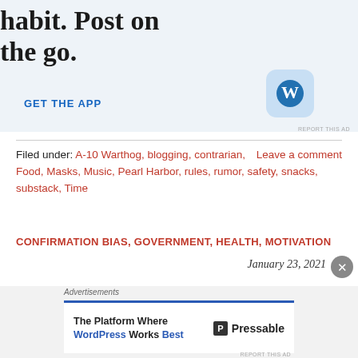[Figure (screenshot): WordPress app advertisement banner showing text 'habit. Post on the go.' with a 'GET THE APP' link and WordPress logo icon on a light blue background]
Filed under: A-10 Warthog, blogging, contrarian, Food, Masks, Music, Pearl Harbor, rules, rumor, safety, snacks, substack, Time    Leave a comment
CONFIRMATION BIAS, GOVERNMENT, HEALTH, MOTIVATION
January 23, 2021
[Figure (screenshot): Bottom advertisement banner: 'Advertisements' label above a white banner with blue top border reading 'The Platform Where WordPress Works Best' with Pressable logo on the right]